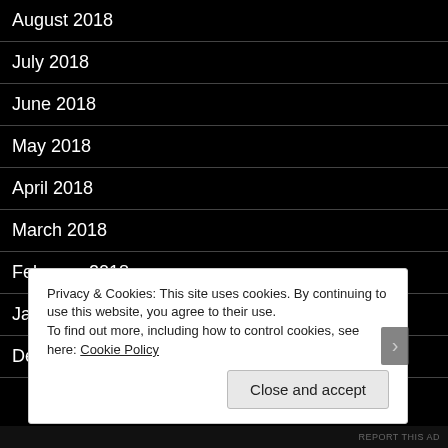August 2018
July 2018
June 2018
May 2018
April 2018
March 2018
February 2018
January 2018
December 2017
Privacy & Cookies: This site uses cookies. By continuing to use this website, you agree to their use.
To find out more, including how to control cookies, see here: Cookie Policy
Close and accept
REPORT THIS AD